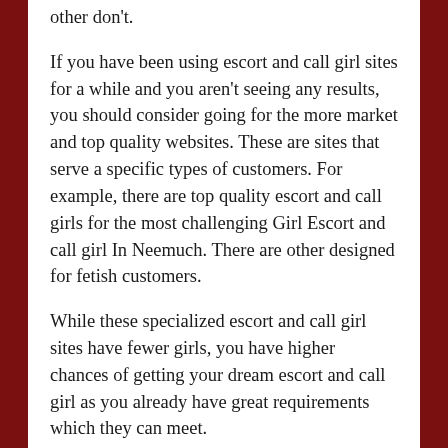other don't.
If you have been using escort and call girl sites for a while and you aren't seeing any results, you should consider going for the more market and top quality websites. These are sites that serve a specific types of customers. For example, there are top quality escort and call girls for the most challenging Girl Escort and call girl In Neemuch. There are other designed for fetish customers.
While these specialized escort and call girl sites have fewer girls, you have higher chances of getting your dream escort and call girl as you already have great requirements which they can meet.
Your objectives are not realistic
You can be in the right escort and call girl agency site